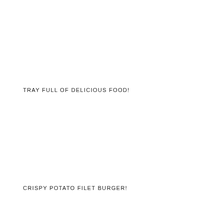TRAY FULL OF DELICIOUS FOOD!
CRISPY POTATO FILET BURGER!